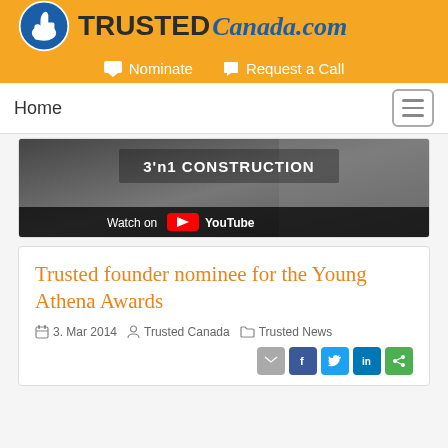TRUSTED Canada.com
Nominate  Request a Call
Home
[Figure (screenshot): YouTube video thumbnail showing '3'n1 CONSTRUCTION' text overlay with 'Watch on YouTube' button, dark background showing a person in suit]
Trusted founder nominee for the Young Athena Awards
3. Mar 2014  Trusted Canada  Trusted News